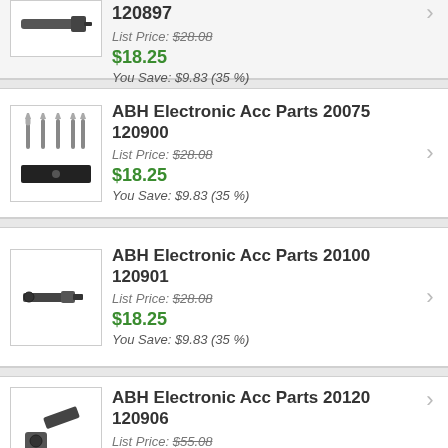[Figure (photo): Product thumbnail - partial view of item at top]
120897
List Price: $28.08
$18.25
You Save: $9.83 (35 %)
[Figure (photo): ABH Electronic Acc Parts 20075 120900 - set of pins and flat piece]
ABH Electronic Acc Parts 20075 120900
List Price: $28.08
$18.25
You Save: $9.83 (35 %)
[Figure (photo): ABH Electronic Acc Parts 20100 120901 - cylindrical pin component]
ABH Electronic Acc Parts 20100 120901
List Price: $28.08
$18.25
You Save: $9.83 (35 %)
[Figure (photo): ABH Electronic Acc Parts 20120 120906 - angled connector component]
ABH Electronic Acc Parts 20120 120906
List Price: $55.08